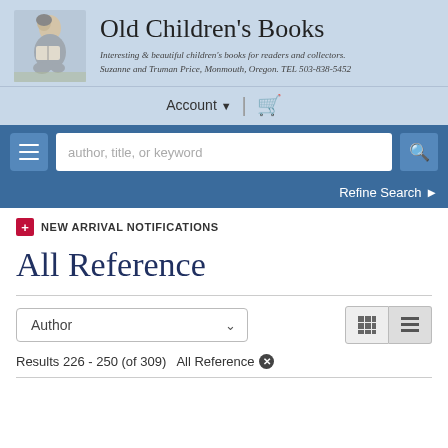Old Children's Books — Interesting & beautiful children's books for readers and collectors. Suzanne and Truman Price, Monmouth, Oregon. TEL 503-838-5452
Account ▼ | 🛒
author, title, or keyword [search bar] Refine Search
+ NEW ARRIVAL NOTIFICATIONS
All Reference
Author ▾ [sort selector]
Results 226 - 250 (of 309)   All Reference ✕